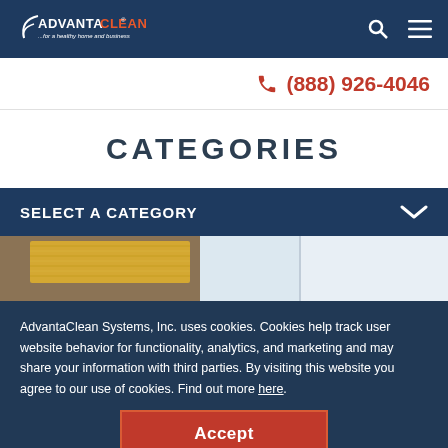AdvantaClean ...for a healthy home and business
(888) 926-4046
CATEGORIES
SELECT A CATEGORY
[Figure (photo): Photo of insulation or building material, yellow fibrous material visible]
AdvantaClean Systems, Inc. uses cookies. Cookies help track user website behavior for functionality, analytics, and marketing and may share your information with third parties. By visiting this website you agree to our use of cookies. Find out more here.
Accept